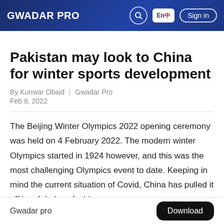GWADAR PRO
Pakistan may look to China for winter sports development
By Kunwar Obaid | Gwadar Pro
Feb 8, 2022
The Beijing Winter Olympics 2022 opening ceremony was held on 4 February 2022. The modern winter Olympics started in 1924 however, and this was the most challenging Olympics event to date. Keeping in mind the current situation of Covid, China has pulled it off in a fabulous fashion.
Gwadar pro    Download